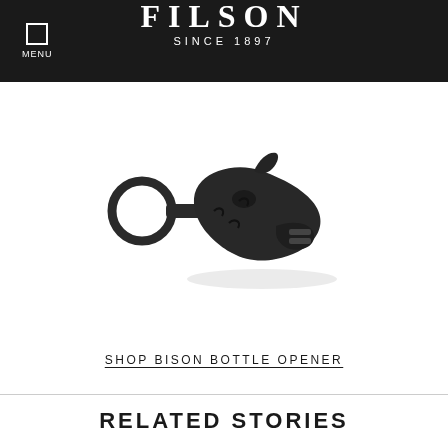FILSON SINCE 1897
[Figure (photo): A dark metallic bison head bottle opener with a ring loop at one end, photographed on white background]
SHOP BISON BOTTLE OPENER
RELATED STORIES